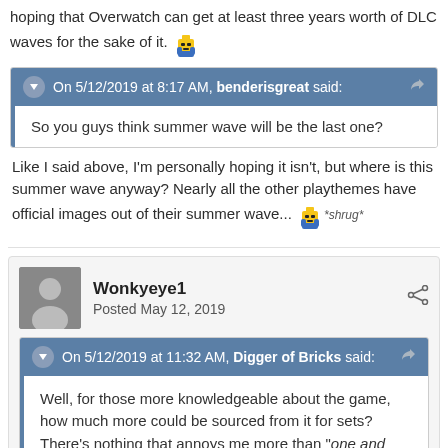hoping that Overwatch can get at least three years worth of DLC waves for the sake of it. [emoji]
On 5/12/2019 at 8:17 AM, benderisgreat said:
So you guys think summer wave will be the last one?
Like I said above, I'm personally hoping it isn't, but where is this summer wave anyway? Nearly all the other playthemes have official images out of their summer wave... [emoji] *shrug*
Wonkyeye1
Posted May 12, 2019
On 5/12/2019 at 11:32 AM, Digger of Bricks said:
Well, for those more knowledgeable about the game, how much more could be sourced from it for sets? There's nothing that annoys me more than "one and done" themes, irrespective of whether or not I care for the theme, as I think the that's because because a great...